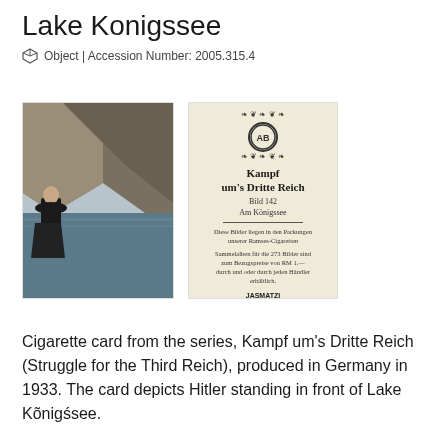Lake Konigssee
Object | Accession Number: 2005.315.4
[Figure (photo): Two cigarette cards shown side by side. Left card (front): color photograph of a figure in dark coat standing before a mountain lake with dramatic rocky cliffs. Right card (back): cream/beige card with ornate header, circular logo marked 'AB', German blackletter text reading 'Kampf um's Dritte Reich', 'Bild 142', 'Am Königssee', followed by small German text body, and at bottom 'JASMATZI CIGARETTENFABRIK G.M.B.H. DRESDEN' with handwritten accession number 2005.315.4.]
Cigarette card from the series, Kampf um's Dritte Reich (Struggle for the Third Reich), produced in Germany in 1933. The card depicts Hitler standing in front of Lake Königssee.